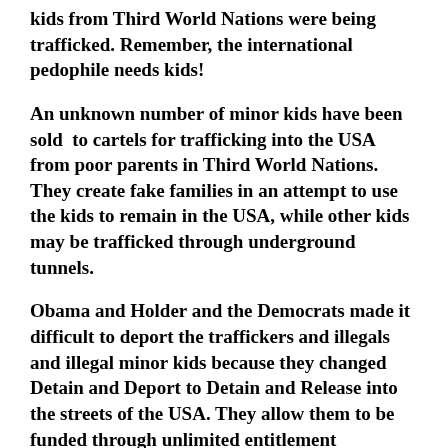kids from Third World Nations were being trafficked. Remember, the international pedophile needs kids!
An unknown number of minor kids have been sold to cartels for trafficking into the USA from poor parents in Third World Nations. They create fake families in an attempt to use the kids to remain in the USA, while other kids may be trafficked through underground tunnels.
Obama and Holder and the Democrats made it difficult to deport the traffickers and illegals and illegal minor kids because they changed Detain and Deport to Detain and Release into the streets of the USA. They allow them to be funded through unlimited entitlement programs and force Americans to taxpayer fund the sanctuary cities and no-go zones. Not to long ago, kids were found